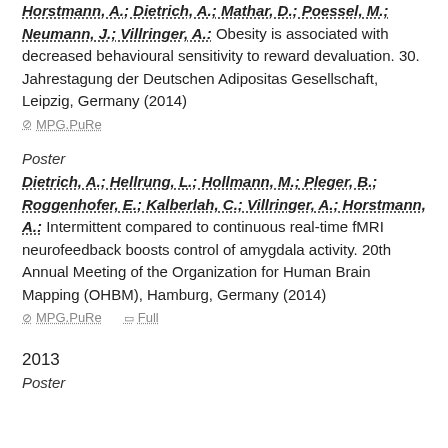Horstmann, A.; Dietrich, A.; Mathar, D.; Poessel, M.; Neumann, J.; Villringer, A.: Obesity is associated with decreased behavioural sensitivity to reward devaluation. 30. Jahrestagung der Deutschen Adipositas Gesellschaft, Leipzig, Germany (2014)
⊘ MPG.PuRe
Poster
Dietrich, A.; Hellrung, L.; Hollmann, M.; Pleger, B.; Roggenhofer, E.; Kalberlah, C.; Villringer, A.; Horstmann, A.: Intermittent compared to continuous real-time fMRI neurofeedback boosts control of amygdala activity. 20th Annual Meeting of the Organization for Human Brain Mapping (OHBM), Hamburg, Germany (2014)
⊘ MPG.PuRe   Full
2013
Poster